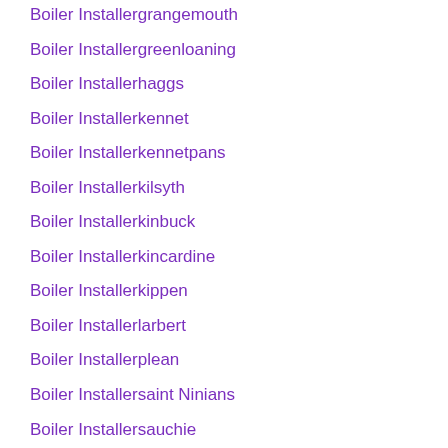Boiler Installergrangemouth
Boiler Installergreenloaning
Boiler Installerhaggs
Boiler Installerkennet
Boiler Installerkennetpans
Boiler Installerkilsyth
Boiler Installerkinbuck
Boiler Installerkincardine
Boiler Installerkippen
Boiler Installerlarbert
Boiler Installerplean
Boiler Installersaint Ninians
Boiler Installersauchie